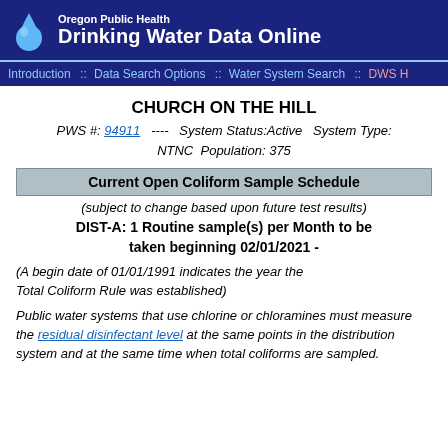Oregon Public Health Drinking Water Data Online
Introduction :: Data Search Options :: Water System Search :: DWS H
CHURCH ON THE HILL
PWS #: 94911  ----  System Status: Active  System Type: NTNC  Population: 375
Current Open Coliform Sample Schedule
(subject to change based upon future test results)
DIST-A:  1 Routine sample(s)  per Month to be taken beginning 02/01/2021 -
(A begin date of 01/01/1991 indicates the year the Total Coliform Rule was established)
Public water systems that use chlorine or chloramines must measure the residual disinfectant level at the same points in the distribution system and at the same time when total coliforms are sampled.